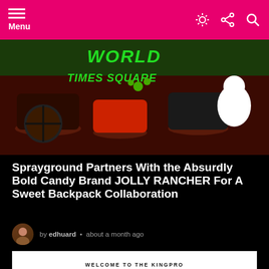Menu
[Figure (photo): Hero image showing a colorful 3D render of candy/snack themed scene with green text reading 'WORLD TIMES SQUARE' on a red and dark background]
Sprayground Partners With the Absurdly Bold Candy Brand JOLLY RANCHER For A Sweet Backpack Collaboration
by edhuard • about a month ago
[Figure (screenshot): Advertisement banner reading 'WELCOME TO THE KINGPRO' with subtitle 'LEARN MORE ABOUT OUR PRODUCTS AND SERVICES']
[Figure (photo): Three thumbnail images showing: two people in blue hoodies, dark clothing with 'Bix' logo, and a red building with 'KING PAT' signage]